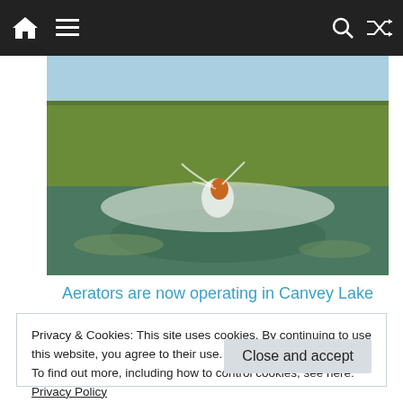Navigation bar with home, menu, search, and shuffle icons
[Figure (photo): Aerator operating in Canvey Lake with green reeds and residential buildings in background, water surface with ripples and floating vegetation]
Aerators are now operating in Canvey Lake
Community
News
Privacy & Cookies: This site uses cookies. By continuing to use this website, you agree to their use.
To find out more, including how to control cookies, see here: Privacy Policy
Close and accept